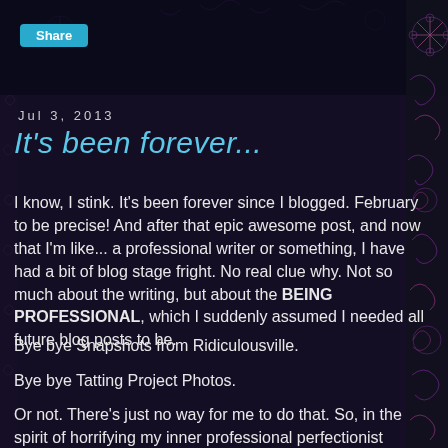[Figure (illustration): Dark decorative background with pink/purple floral and snowflake swirl patterns on the sides, and a semi-transparent dark center content panel]
Share
Jul 3, 2013
It's been forever...
I know, I stink. It's been forever since I blogged. February to be precise! And after that epic awesome post, and now that I'm like... a professional writer or something, I have had a bit of blog stage fright. No real clue why. Not so much about the writing, but about the BEING PROFESSIONAL, which I suddenly assumed I needed all future blog posts to be.
Bye bye Snapshots from Ridiculousville.
Bye bye Tatting Project Photos.
Or not. There's just no way for me to do that. So, in the spirit of horrifying my inner professional perfectionist wacko, I will enlighten everyone to something they probably already know. But which was news to me.